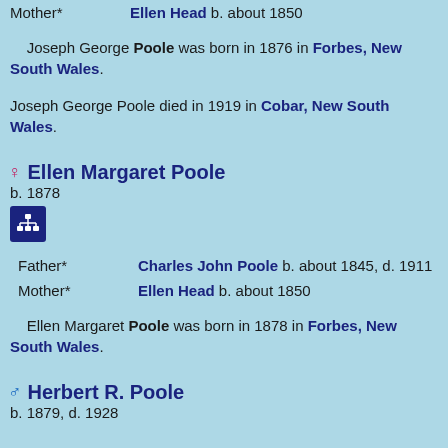Mother* Ellen Head b. about 1850
Joseph George Poole was born in 1876 in Forbes, New South Wales.
Joseph George Poole died in 1919 in Cobar, New South Wales.
♀ Ellen Margaret Poole
b. 1878
[Figure (other): Small dark blue icon/button with a family tree or hierarchy symbol in white]
Father* Charles John Poole b. about 1845, d. 1911
Mother* Ellen Head b. about 1850
Ellen Margaret Poole was born in 1878 in Forbes, New South Wales.
♂ Herbert R. Poole
b. 1879, d. 1928